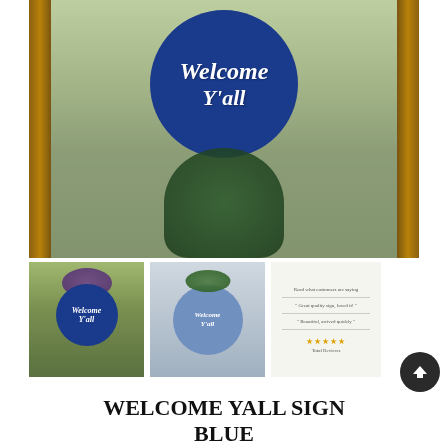[Figure (photo): Main photo showing a blue circular 'Welcome Y'all' sign hanging on a glass door with wooden frame. The sign is navy blue with white script text. A green shrub/wreath is visible beneath the sign through the glass door.]
[Figure (photo): Thumbnail 1: Close-up of the Welcome Y'all sign hanging with purple and green floral decoration on top, against an outdoor background.]
[Figure (photo): Thumbnail 2: Welcome Y'all sign in lighter blue/gray tone with green floral topper, shown against a plain background.]
[Figure (screenshot): Thumbnail 3: Screenshot showing customer reviews or ratings with star rating display.]
WELCOME YALL SIGN BLUE